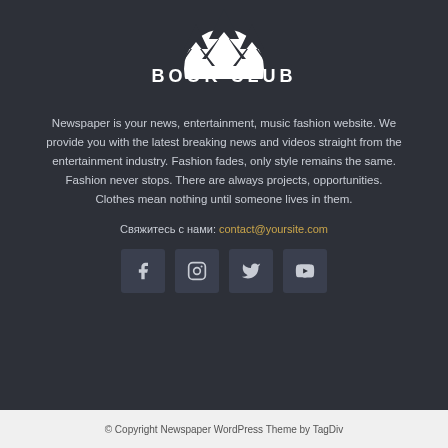[Figure (logo): Book Club logo with trees and moon silhouette, white text on dark background reading BOOK CLUB]
Newspaper is your news, entertainment, music fashion website. We provide you with the latest breaking news and videos straight from the entertainment industry. Fashion fades, only style remains the same. Fashion never stops. There are always projects, opportunities. Clothes mean nothing until someone lives in them.
Свяжитесь с нами: contact@yoursite.com
[Figure (infographic): Four social media icon buttons: Facebook, Instagram, Twitter, YouTube on dark rounded square backgrounds]
© Copyright Newspaper WordPress Theme by TagDiv